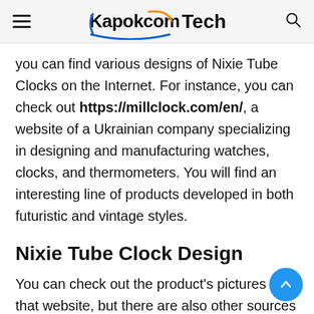Kapokcom Tech
you can find various designs of Nixie Tube Clocks on the Internet. For instance, you can check out https://millclock.com/en/, a website of a Ukrainian company specializing in designing and manufacturing watches, clocks, and thermometers. You will find an interesting line of products developed in both futuristic and vintage styles.
Nixie Tube Clock Design
You can check out the product's pictures on that website, but there are also other sources on the Internet allowing you to get an idea of what it